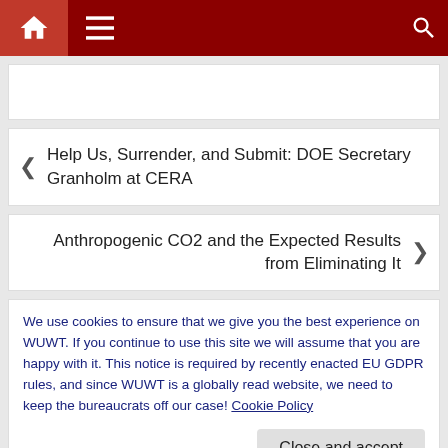Navigation bar with home, menu, and search icons
Help Us, Surrender, and Submit: DOE Secretary Granholm at CERA
Anthropogenic CO2 and the Expected Results from Eliminating It
We use cookies to ensure that we give you the best experience on WUWT. If you continue to use this site we will assume that you are happy with it. This notice is required by recently enacted EU GDPR rules, and since WUWT is a globally read website, we need to keep the bureaucrats off our case! Cookie Policy
98 COMMENTS